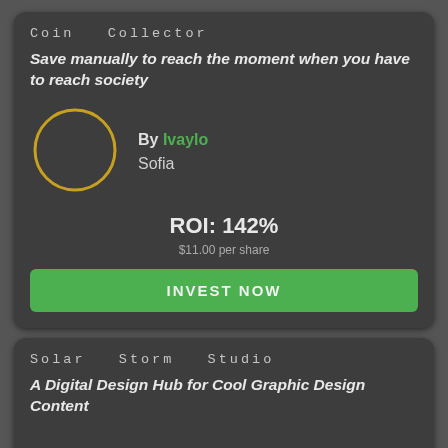Coin  Collector
Save manually to reach the moment when you have to reach society
By Ivaylo
Sofia
ROI: 142%
$11.00 per share
INVEST NOW
Solar Storm Studio
A Digital Design Hub for Cool Graphic Design Content
By Vahid